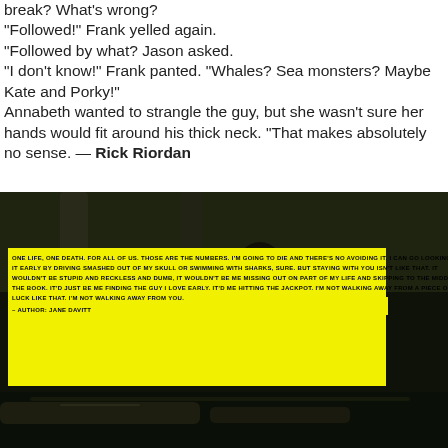break? What's wrong? "Followed!" Frank yelled again. "Followed by what? Jason asked. "I don't know!" Frank panted. "Whales? Sea monsters? Maybe Kate and Porky!" Annabeth wanted to strangle the guy, but she wasn't sure her hands would fit around his thick neck. "That makes absolutely no sense. — Rick Riordan
[Figure (photo): Dark outdoor photo showing a person near bamboo water features in a Japanese garden setting, with a yellow highlighted quote overlay reading: 'ONE LIFE, ONE DEATH. FOR ALL OF US. THOSE ARE THE NUMBERS. I'M GOING TO DIE AND THERE'S NO AVOIDING IT. I CAN GO LOOKING FOR IT EARLY BY DRIVING SMASHED OUT OF MY SKULL OR SWIMMING WITH SHARKS, SURE. BUT STAYING WITH YOU ISN'T LIKE THAT. IT WOULDN'T BE STUPID AND RECKLESS AND DUMB, IT WOULDN'T BE ME MISSING OUT ON PART OF MY LIFE AND SKIPPING TO THE MIDDLE OF THE BOOK. IT'D JUST BE ME FINDING THE GUY I LOVE EARLY. IT'D ME HITTING THE JACKPOT. I'M NOT WALKING AWAY FROM A PIECE OF LUCK LIKE THAT. I'M NOT WALKING AWAY FROM YOU. – AUTHOR: JANE DAVITT']